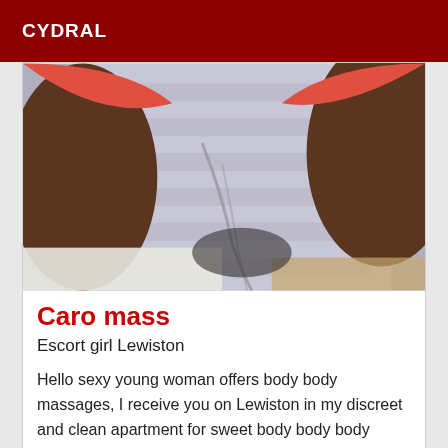CYDRAL
[Figure (photo): Close-up photo showing a person wearing red/coral undergarments against a gray striped fabric/bedding background, taken from above]
Caro mass
Escort girl Lewiston
Hello sexy young woman offers body body massages, I receive you on Lewiston in my discreet and clean apartment for sweet body body body moments.